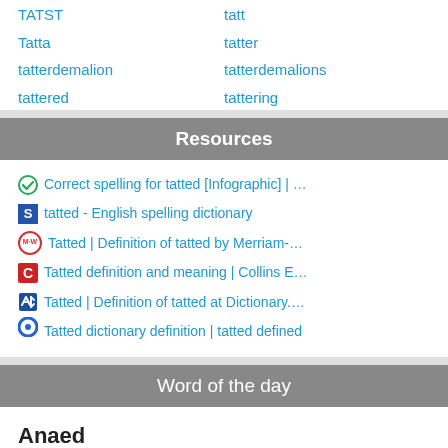TATST
tatt
Tatta
tatter
tatterdemalion
tatterdemalions
tattered
tattering
Resources
Correct spelling for tatted [Infographic] | …
tatted - English spelling dictionary
Tatted | Definition of tatted by Merriam-…
Tatted definition and meaning | Collins E…
Tatted | Definition of tatted at Dictionary.…
Tatted dictionary definition | tatted defined
Word of the day
Anaed
more ▶